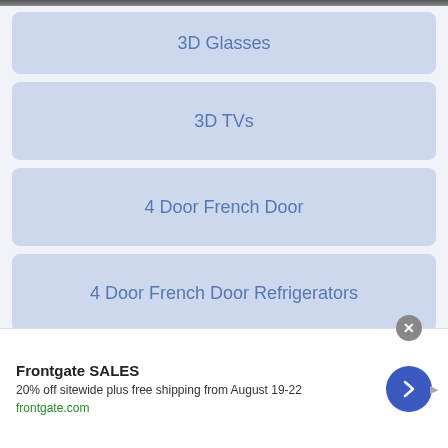3D Glasses
3D TVs
4 Door French Door
4 Door French Door Refrigerators
4-Door Flex
4-Door Flex™
Frontgate SALES
20% off sitewide plus free shipping from August 19-22
frontgate.com